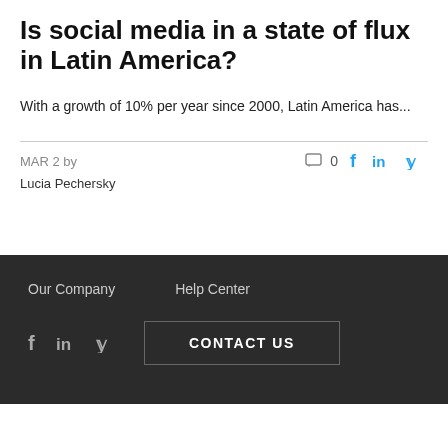Is social media in a state of flux in Latin America?
With a growth of 10% per year since 2000, Latin America has...
MAR 2 by
Lucia Pechersky
Our Company   Help Center   CONTACT US
[Figure (logo): meo social logo with colorful letters m (yellow), e (pink), o (teal) and 'social' in italic gray text]